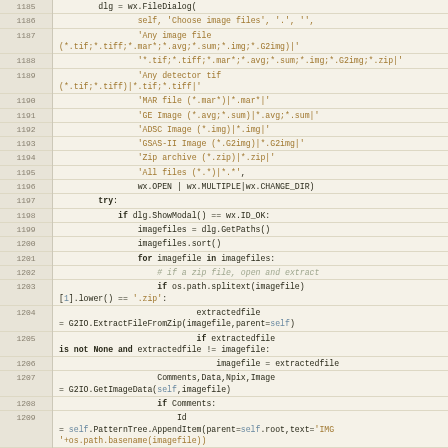[Figure (screenshot): Python source code listing, lines 1185-1209, showing file dialog and image loading code in a code editor with line numbers on the left.]